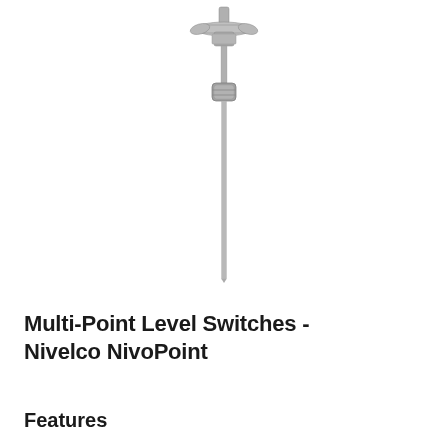[Figure (photo): A Nivelco NivoPoint multi-point level switch probe — a slender metallic rod with a butterfly nut connector at the top, a cylindrical body housing with a float ring in the middle, and a long thin probe rod extending downward.]
Multi-Point Level Switches - Nivelco NivoPoint
Features